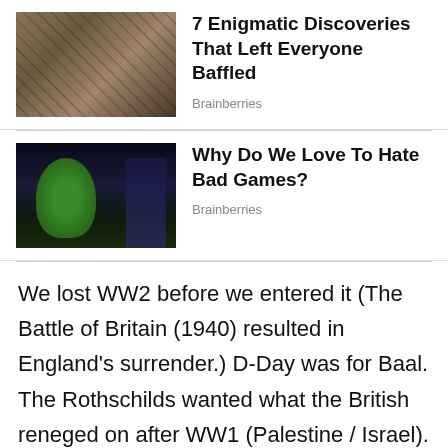[Figure (photo): Thumbnail image of rocky/earthy archaeological or geological find]
7 Enigmatic Discoveries That Left Everyone Baffled
Brainberries
[Figure (photo): Thumbnail of a video game character in a nighttime city scene with green lighting]
Why Do We Love To Hate Bad Games?
Brainberries
We lost WW2 before we entered it (The Battle of Britain (1940) resulted in England's surrender.) D-Day was for Baal. The Rothschilds wanted what the British reneged on after WW1 (Palestine / Israel). 1600 Nazis members were brought to America with their families by American Nazis (Allen Dulles, Bush, Brown…